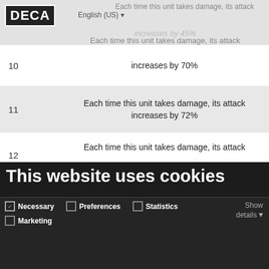[Figure (screenshot): DECA website background showing a table with game unit ability data. Rows numbered 10, 11, 12 with text about attack increases on damage.]
| Level | Description |
| --- | --- |
| 10 | Each time this unit takes damage, its attack increases by 70% |
| 11 | Each time this unit takes damage, its attack increases by 72% |
| 12 | Each time this unit takes damage, its attack increases by 74% |
This website uses cookies
We use cookies to personalise content and ads, to provide social media features and to analyse our traffic. We also share information about your use of our site with our social media, advertising and analytics partners who may combine it with other information that you've provided to them or that they've collected from your use of their services.
Allow all cookies
Allow selection
Use necessary cookies only
Necessary  Preferences  Statistics  Marketing  Show details